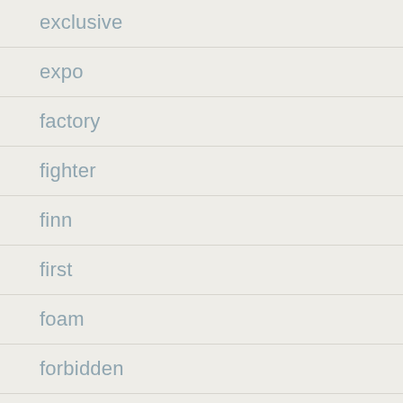exclusive
expo
factory
fighter
finn
first
foam
forbidden
force
fossil